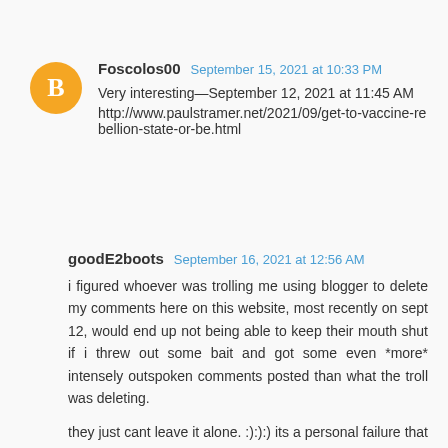Foscolos00  September 15, 2021 at 10:33 PM
Very interesting—September 12, 2021 at 11:45 AM
http://www.paulstramer.net/2021/09/get-to-vaccine-rebellion-state-or-be.html
goodE2boots  September 16, 2021 at 12:56 AM
i figured whoever was trolling me using blogger to delete my comments here on this website, most recently on sept 12, would end up not being able to keep their mouth shut if i threw out some bait and got some even *more* intensely outspoken comments posted than what the troll was deleting.

they just cant leave it alone. :):):) its a personal failure that continues to gnaw at them over time. "sociopaths".